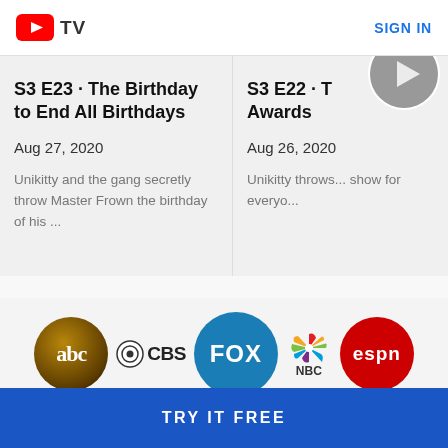YouTube TV — SIGN IN
S3 E23 · The Birthday to End All Birthdays
Aug 27, 2020
Unikitty and the gang secretly throw Master Frown the birthday of his ...
S3 E22 · T... Awards
Aug 26, 2020
Unikitty throws... show for everyo...
[Figure (logo): Channel logos: ABC, CBS, FOX, NBC, ESPN]
TRY IT FREE